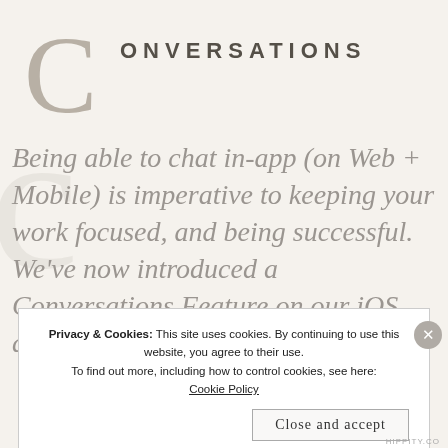CONVERSATIONS
Being able to chat in-app (on Web + Mobile) is imperative to keeping your work focused, and being successful. We've now introduced a Conversations Feature on our iOS and Android Apps!
Privacy & Cookies: This site uses cookies. By continuing to use this website, you agree to their use. To find out more, including how to control cookies, see here: Cookie Policy
Close and accept